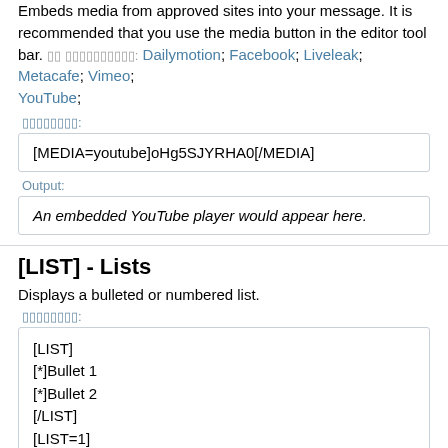Embeds media from approved sites into your message. It is recommended that you use the media button in the editor tool bar. Supported sites: Dailymotion; Facebook; Liveleak; Metacafe; Vimeo; YouTube;
Example:
[MEDIA=youtube]oHg5SJYRHA0[/MEDIA]
Output:
An embedded YouTube player would appear here.
[LIST] - Lists
Displays a bulleted or numbered list.
Example:
[LIST]
[*]Bullet 1
[*]Bullet 2
[/LIST]
[LIST=1]
[*]Entry 1
[*]Entry 2
[/LIST]
Output: